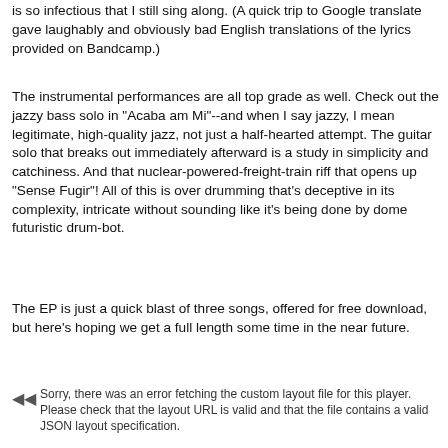is so infectious that I still sing along. (A quick trip to Google translate gave laughably and obviously bad English translations of the lyrics provided on Bandcamp.)
The instrumental performances are all top grade as well. Check out the jazzy bass solo in "Acaba am Mi"--and when I say jazzy, I mean legitimate, high-quality jazz, not just a half-hearted attempt. The guitar solo that breaks out immediately afterward is a study in simplicity and catchiness. And that nuclear-powered-freight-train riff that opens up "Sense Fugir"! All of this is over drumming that's deceptive in its complexity, intricate without sounding like it's being done by dome futuristic drum-bot.
The EP is just a quick blast of three songs, offered for free download, but here's hoping we get a full length some time in the near future.
Sorry, there was an error fetching the custom layout file for this player. Please check that the layout URL is valid and that the file contains a valid JSON layout specification.